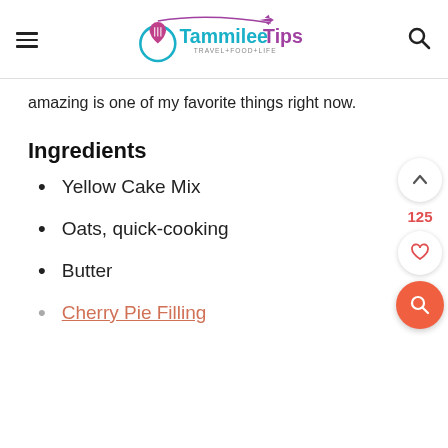Tammilee Tips — TRAVEL+FOOD+LIFE
amazing is one of my favorite things right now.
Ingredients
Yellow Cake Mix
Oats, quick-cooking
Butter
Cherry Pie Filling